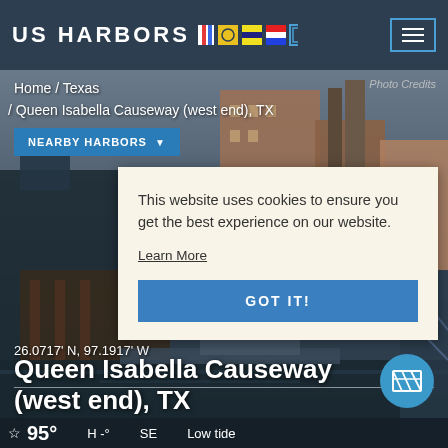US HARBORS [flag icons]
Home / Texas / Queen Isabella Causeway (west end), TX
Photo Credits
NEARBY HARBORS ▼
This website uses cookies to ensure you get the best experience on our website.
Learn More
GOT IT!
26.0717' N, 97.1917' W
Queen Isabella Causeway (west end), TX
95°  H -°  SE  Low tide